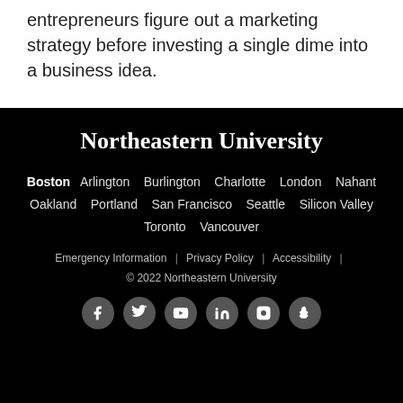entrepreneurs figure out a marketing strategy before investing a single dime into a business idea.
Northeastern University
Boston  Arlington  Burlington  Charlotte  London  Nahant  Oakland  Portland  San Francisco  Seattle  Silicon Valley  Toronto  Vancouver
Emergency Information  |  Privacy Policy  |  Accessibility  |  © 2022 Northeastern University